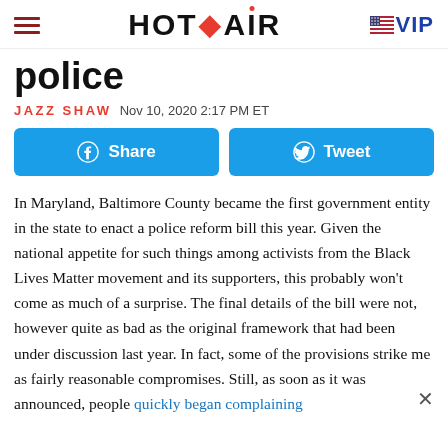HOT AIR | VIP
police
JAZZ SHAW  Nov 10, 2020 2:17 PM ET
[Figure (other): Facebook Share button and Twitter Tweet button]
In Maryland, Baltimore County became the first government entity in the state to enact a police reform bill this year. Given the national appetite for such things among activists from the Black Lives Matter movement and its supporters, this probably won't come as much of a surprise. The final details of the bill were not, however quite as bad as the original framework that had been under discussion last year. In fact, some of the provisions strike me as fairly reasonable compromises. Still, as soon as it was announced, people quickly began complaining